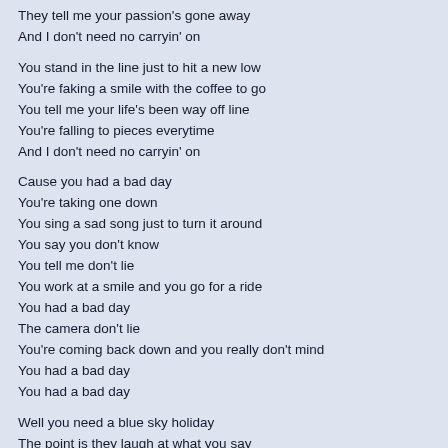They tell me your passion's gone away
And I don't need no carryin' on
You stand in the line just to hit a new low
You're faking a smile with the coffee to go
You tell me your life's been way off line
You're falling to pieces everytime
And I don't need no carryin' on
Cause you had a bad day
You're taking one down
You sing a sad song just to turn it around
You say you don't know
You tell me don't lie
You work at a smile and you go for a ride
You had a bad day
The camera don't lie
You're coming back down and you really don't mind
You had a bad day
You had a bad day
Well you need a blue sky holiday
The point is they laugh at what you say
And I don't need no carryin' on
You had a bad day